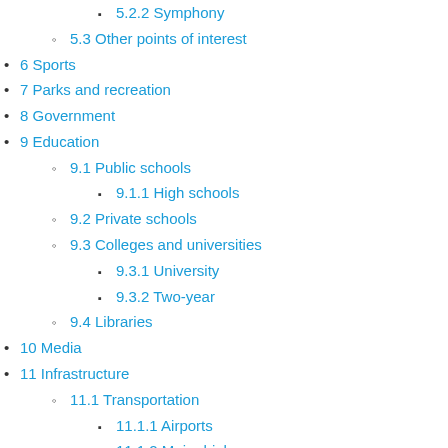5.2.2 Symphony
5.3 Other points of interest
6 Sports
7 Parks and recreation
8 Government
9 Education
9.1 Public schools
9.1.1 High schools
9.2 Private schools
9.3 Colleges and universities
9.3.1 University
9.3.2 Two-year
9.4 Libraries
10 Media
11 Infrastructure
11.1 Transportation
11.1.1 Airports
11.1.2 Major highways
11.1.3 Rail
11.1.4 Bus transit
11.2 Utilities
11.3 Healthcare
11.3.1 Hospitals